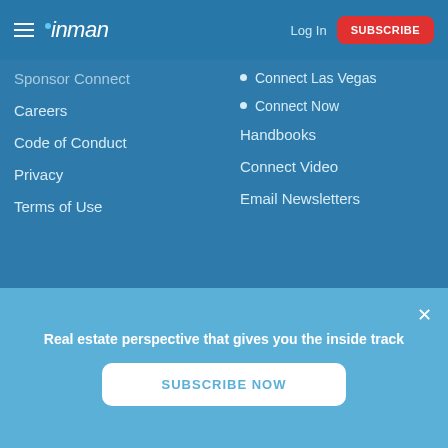inman | Log In | SUBSCRIBE
Sponsor Connect
Careers
Code of Conduct
Privacy
Terms of Use
Connect Las Vegas
Connect Now
Handbooks
Connect Video
Email Newsletters
Community
Facebook Groups
Coast to Coast
Agent to Agent
Real estate perspective that gives you the inside track
SUBSCRIBE NOW